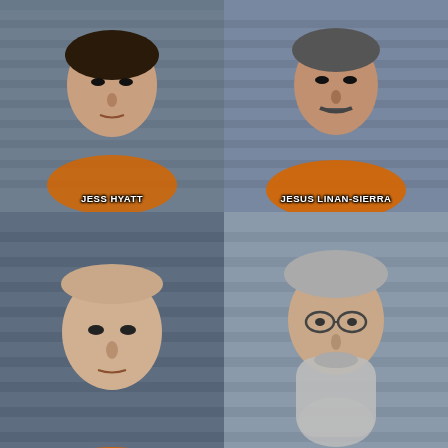[Figure (photo): Mugshot of JESS HYATT in orange jumpsuit against blue-gray wall]
[Figure (photo): Mugshot of JESUS LINAN-SIERRA in orange jumpsuit against blue-gray wall]
[Figure (photo): Mugshot of JOHN YOUNGBLOOD in orange jumpsuit against blue-gray wall, bald man]
[Figure (photo): Mugshot of JORGE LEAL in orange jumpsuit, older man with long gray beard and glasses]
[Figure (photo): Mugshot of JOSE BOCANEGRA-GONZALEZ in orange jumpsuit against blue-gray wall]
[Figure (photo): Mugshot of JOSE MORALES against light blue background, smiling young man in dark jacket]
[Figure (photo): Partial mugshot of unknown individual against blue-gray wall]
[Figure (photo): Partial mugshot of unknown individual against teal/blue background]